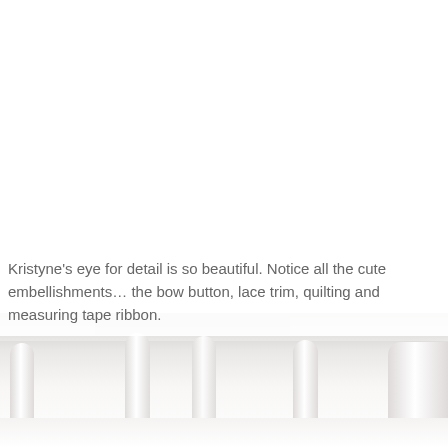[Figure (photo): A blurred photo showing white furniture legs (possibly a crib or table) on a white surface, with a grey background element visible. The image is split — the top portion is white/blank and the bottom shows the furniture legs in soft focus.]
Kristyne's eye for detail is so beautiful. Notice all the cute embellishments… the bow button, lace trim, quilting and measuring tape ribbon.